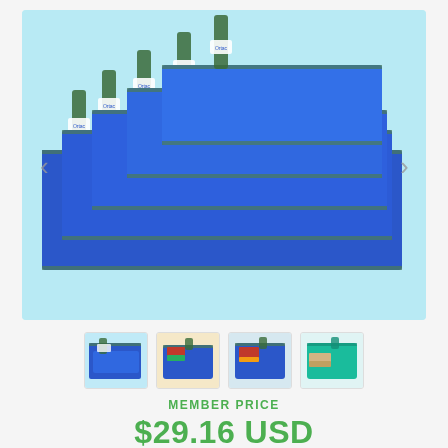[Figure (photo): Multiple blue fabric sandwich bags with green trim and white brand labels, fanned out on a light blue background. Navigation arrows visible on left and right sides of image.]
[Figure (photo): Thumbnail 1: Blue fabric bags stacked, matching main image]
[Figure (photo): Thumbnail 2: Blue bag with food/sandwich inside on beige background]
[Figure (photo): Thumbnail 3: Blue bag with sandwich on light background]
[Figure (photo): Thumbnail 4: Teal/turquoise bag with sandwich on light background]
MEMBER PRICE
$29.16 USD